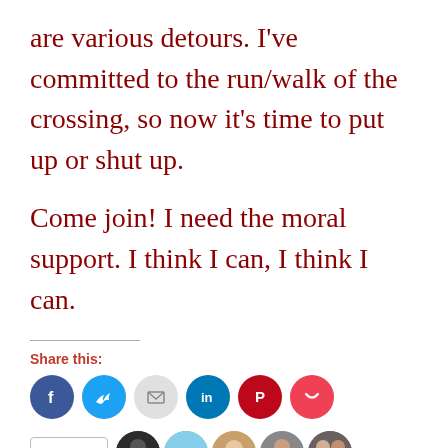are various detours. I've committed to the run/walk of the crossing, so now it's time to put up or shut up.
Come join! I need the moral support. I think I can, I think I can.
Share this:
[Figure (infographic): Six social share buttons: Facebook (blue circle), Twitter (light blue circle), Email (grey circle), LinkedIn (teal circle), Pinterest (red circle), Pocket (pink-red circle)]
[Figure (infographic): Like button with star icon and 5 blogger avatars shown as circular photos]
5 bloggers like this.
Related